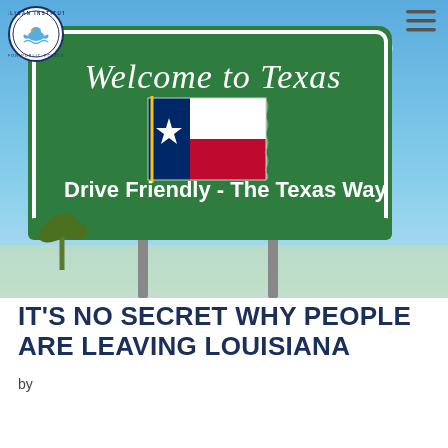[Figure (photo): A green 'Welcome to Texas – Drive Friendly – The Texas Way' road sign with a Texas flag graphic on it, against a blue sky background. The Pelican Institute for Public Policy logo (circular badge) is overlaid in the upper left corner, and a hamburger menu icon is in the upper right.]
IT'S NO SECRET WHY PEOPLE ARE LEAVING LOUISIANA
by